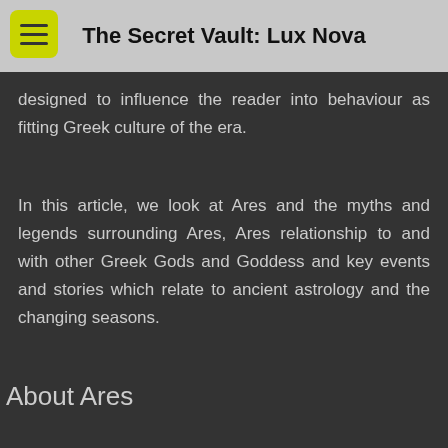The Secret Vault: Lux Nova
designed to influence the reader into behaviour as fitting Greek culture of the era.
In this article, we look at Ares and the myths and legends surrounding Ares, Ares relationship to and with other Greek Gods and Goddess and key events and stories which relate to ancient astrology and the changing seasons.
About Ares